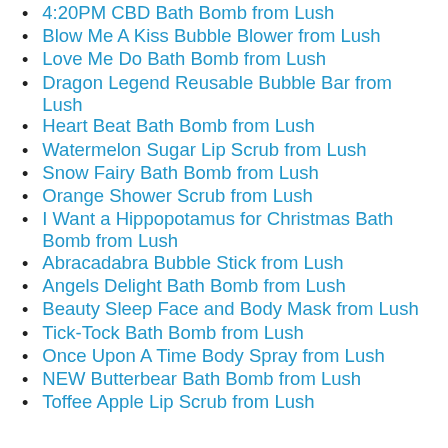4:20PM CBD Bath Bomb from Lush
Blow Me A Kiss Bubble Blower from Lush
Love Me Do Bath Bomb from Lush
Dragon Legend Reusable Bubble Bar from Lush
Heart Beat Bath Bomb from Lush
Watermelon Sugar Lip Scrub from Lush
Snow Fairy Bath Bomb from Lush
Orange Shower Scrub from Lush
I Want a Hippopotamus for Christmas Bath Bomb from Lush
Abracadabra Bubble Stick from Lush
Angels Delight Bath Bomb from Lush
Beauty Sleep Face and Body Mask from Lush
Tick-Tock Bath Bomb from Lush
Once Upon A Time Body Spray from Lush
NEW Butterbear Bath Bomb from Lush
Toffee Apple Lip Scrub from Lush